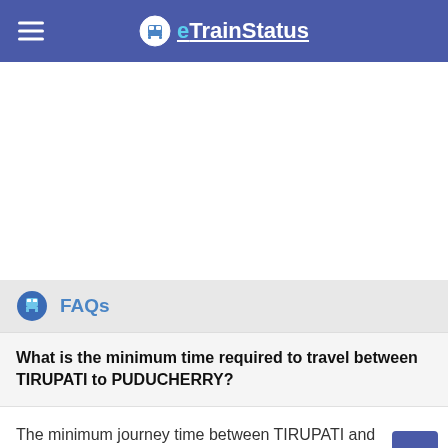eTrainStatus
FAQs
What is the minimum time required to travel between TIRUPATI to PUDUCHERRY?
The minimum journey time between TIRUPATI and PUDUCHERRY is 06:45 hrs.